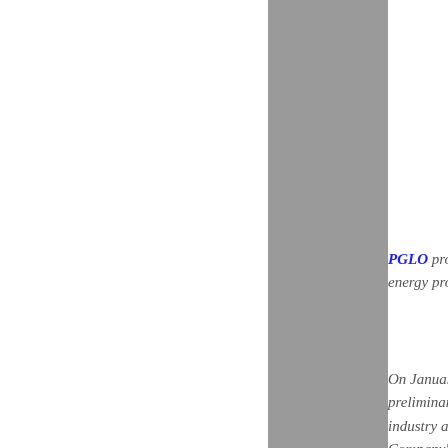PGLO prov energy prod
On January preliminary industry abe Company's